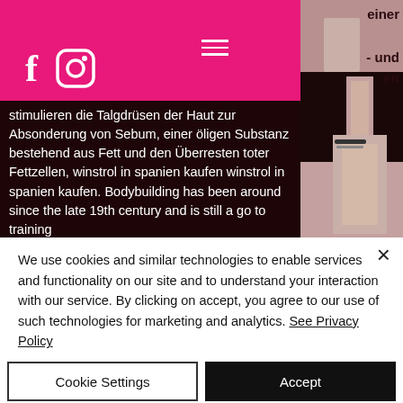[Figure (screenshot): Website header with pink background, Facebook and Instagram social icons in white, hamburger menu icon, partially visible dark background with German body text about stimulating sebaceous glands (Talgdrüsen) and bodybuilding, with a partial photo of a person's torso/arm on the right side]
stimulieren die Talgdrüsen der Haut zur Absonderung von Sebum, einer öligen Substanz bestehend aus Fett und den Überresten toter Fettzellen, winstrol in spanien kaufen winstrol in spanien kaufen. Bodybuilding has been around since the late 19th century and is still a go to training
We use cookies and similar technologies to enable services and functionality on our site and to understand your interaction with our service. By clicking on accept, you agree to our use of such technologies for marketing and analytics. See Privacy Policy